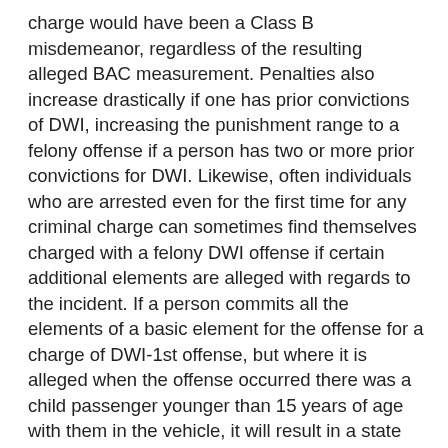charge would have been a Class B misdemeanor, regardless of the resulting alleged BAC measurement. Penalties also increase drastically if one has prior convictions of DWI, increasing the punishment range to a felony offense if a person has two or more prior convictions for DWI. Likewise, often individuals who are arrested even for the first time for any criminal charge can sometimes find themselves charged with a felony DWI offense if certain additional elements are alleged with regards to the incident. If a person commits all the elements of a basic element for the offense for a charge of DWI-1st offense, but where it is alleged when the offense occurred there was a child passenger younger than 15 years of age with them in the vehicle, it will result in a state jail felony criminal offense which has an enhanced range of punishment. If a person allegedly committed the elements of DWI, and by reason of that intoxication serious bodily injury to another, or death resulted – it could